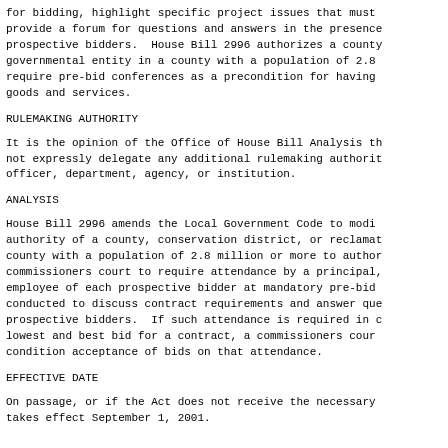for bidding, highlight specific project issues that must provide a forum for questions and answers in the presence prospective bidders.  House Bill 2996 authorizes a county governmental entity in a county with a population of 2.8 require pre-bid conferences as a precondition for having goods and services.
RULEMAKING AUTHORITY
It is the opinion of the Office of House Bill Analysis th not expressly delegate any additional rulemaking authorit officer, department, agency, or institution.
ANALYSIS
House Bill 2996 amends the Local Government Code to modi authority of a county, conservation district, or reclamat county with a population of 2.8 million or more to author commissioners court to require attendance by a principal, employee of each prospective bidder at mandatory pre-bid conducted to discuss contract requirements and answer que prospective bidders.  If such attendance is required in c lowest and best bid for a contract, a commissioners cour condition acceptance of bids on that attendance.
EFFECTIVE DATE
On passage, or if the Act does not receive the necessary takes effect September 1, 2001.